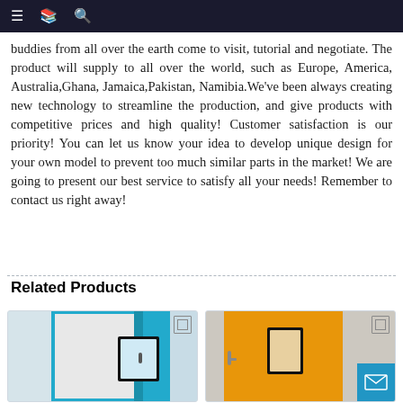Navigation bar with menu, document, and search icons
buddies from all over the earth come to visit, tutorial and negotiate. The product will supply to all over the world, such as Europe, America, Australia,Ghana, Jamaica,Pakistan, Namibia.We've been always creating new technology to streamline the production, and give products with competitive prices and high quality! Customer satisfaction is our priority! You can let us know your idea to develop unique design for your own model to prevent too much similar parts in the market! We are going to present our best service to satisfy all your needs! Remember to contact us right away!
Related Products
[Figure (photo): Blue steel door with rectangular window panel on a light background]
[Figure (photo): Orange steel door with rectangular window panel on a light background, with blue mail contact button overlay]